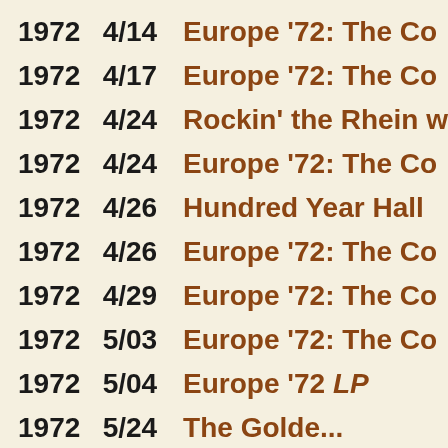| Year | Date | Title |
| --- | --- | --- |
| 1972 | 4/14 | Europe '72: The Co |
| 1972 | 4/17 | Europe '72: The Co |
| 1972 | 4/24 | Rockin' the Rhein w |
| 1972 | 4/24 | Europe '72: The Co |
| 1972 | 4/26 | Hundred Year Hall |
| 1972 | 4/26 | Europe '72: The Co |
| 1972 | 4/29 | Europe '72: The Co |
| 1972 | 5/03 | Europe '72: The Co |
| 1972 | 5/04 | Europe '72 LP |
| 1972 | 5/24 | The Golden R... |